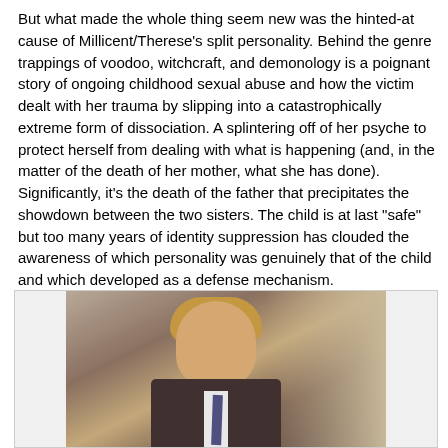But what made the whole thing seem new was the hinted-at cause of Millicent/Therese's split personality. Behind the genre trappings of voodoo, witchcraft, and demonology is a poignant story of ongoing childhood sexual abuse and how the victim dealt with her trauma by slipping into a catastrophically extreme form of dissociation. A splintering off of her psyche to protect herself from dealing with what is happening (and, in the matter of the death of her mother, what she has done).
Significantly, it's the death of the father that precipitates the showdown between the two sisters. The child is at last "safe" but too many years of identity suppression has clouded the awareness of which personality was genuinely that of the child and which developed as a defense mechanism.
[Figure (photo): A blonde man in a suit and tie looking upward, photographed from below against an architectural background.]